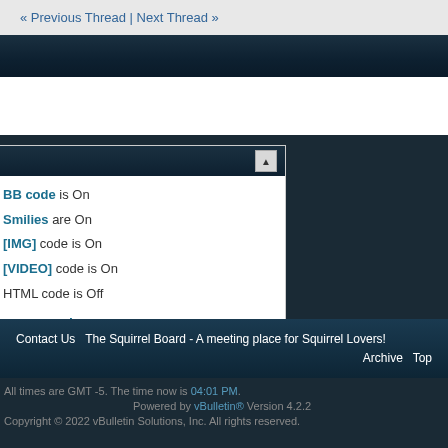« Previous Thread | Next Thread »
BB code is On
Smilies are On
[IMG] code is On
[VIDEO] code is On
HTML code is Off
Forum Rules
Contact Us   The Squirrel Board - A meeting place for Squirrel Lovers!
Archive   Top
All times are GMT -5. The time now is 04:01 PM.
Powered by vBulletin® Version 4.2.2
Copyright © 2022 vBulletin Solutions, Inc. All rights reserved.